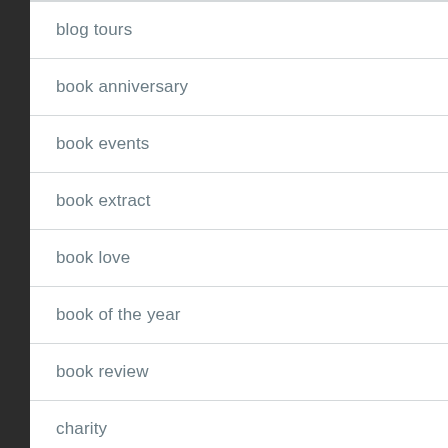blog tours
book anniversary
book events
book extract
book love
book of the year
book review
charity